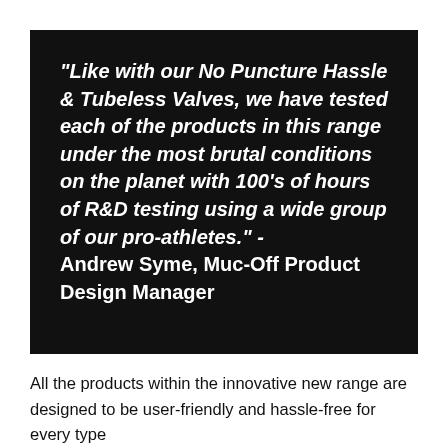“Like with our No Puncture Hassle & Tubeless Valves, we have tested each of the products in this range under the most brutal conditions on the planet with 100’s of hours of R&D testing using a wide group of our pro-athletes.” - Andrew Syme, Muc-Off Product Design Manager
All the products within the innovative new range are designed to be user-friendly and hassle-free for every type